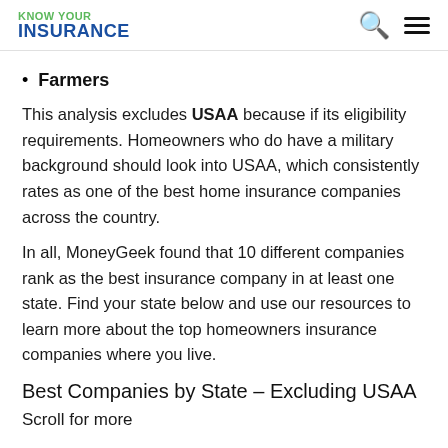KNOW YOUR INSURANCE
Farmers
This analysis excludes USAA because if its eligibility requirements. Homeowners who do have a military background should look into USAA, which consistently rates as one of the best home insurance companies across the country.
In all, MoneyGeek found that 10 different companies rank as the best insurance company in at least one state. Find your state below and use our resources to learn more about the top homeowners insurance companies where you live.
Best Companies by State – Excluding USAA
Scroll for more